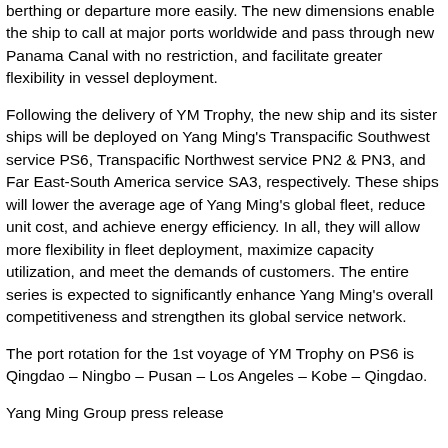berthing or departure more easily. The new dimensions enable the ship to call at major ports worldwide and pass through new Panama Canal with no restriction, and facilitate greater flexibility in vessel deployment.
Following the delivery of YM Trophy, the new ship and its sister ships will be deployed on Yang Ming's Transpacific Southwest service PS6, Transpacific Northwest service PN2 & PN3, and Far East-South America service SA3, respectively. These ships will lower the average age of Yang Ming's global fleet, reduce unit cost, and achieve energy efficiency. In all, they will allow more flexibility in fleet deployment, maximize capacity utilization, and meet the demands of customers. The entire series is expected to significantly enhance Yang Ming's overall competitiveness and strengthen its global service network.
The port rotation for the 1st voyage of YM Trophy on PS6 is Qingdao – Ningbo – Pusan – Los Angeles – Kobe – Qingdao.
Yang Ming Group press release